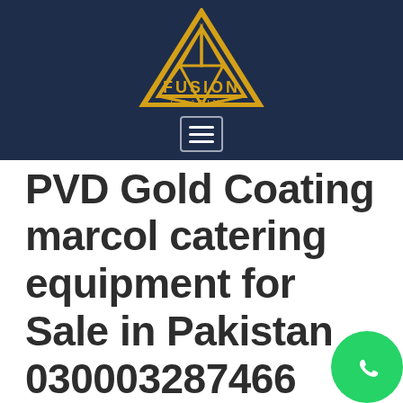[Figure (logo): Fusion Coating logo: yellow triangle geometric mark above text FUSION COATING in yellow, on dark navy background with hamburger menu icon below]
PVD Gold Coating marcol catering equipment for Sale in Pakistan 030003287466